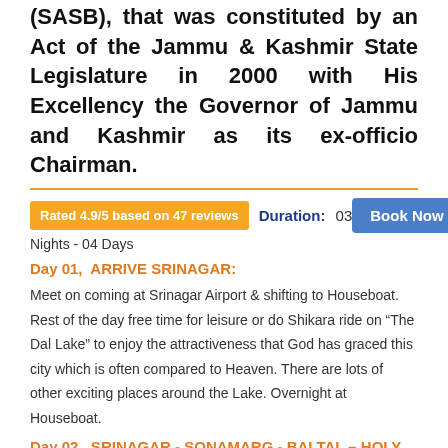(SASB), that was constituted by an Act of the Jammu & Kashmir State Legislature in 2000 with His Excellency the Governor of Jammu and Kashmir as its ex-officio Chairman.
Rated 4.9/5 based on 47 reviews  Duration:  03  Book Now
Nights - 04 Days
Day 01,  ARRIVE SRINAGAR:
Meet on coming at Srinagar Airport & shifting to Houseboat. Rest of the day free time for leisure or do Shikara ride on “The Dal Lake” to enjoy the attractiveness that God has graced this city which is often compared to Heaven. There are lots of other exciting places around the Lake. Overnight at Houseboat.
Day 02,  SRINAGAR - SONAMARG - BALTAL – HOLY CAVE – BALTAL - SONAMARG: